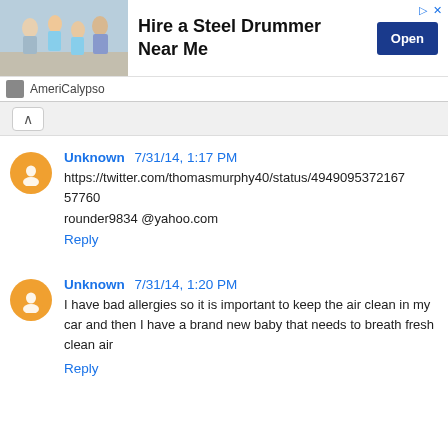[Figure (advertisement): Ad banner for AmeriCalypso: Hire a Steel Drummer Near Me, with Open button]
Unknown 7/31/14, 1:17 PM
https://twitter.com/thomasmurphy40/status/494909537216757760
rounder9834 @yahoo.com
Reply
Unknown 7/31/14, 1:20 PM
I have bad allergies so it is important to keep the air clean in my car and then I have a brand new baby that needs to breath fresh clean air
Reply